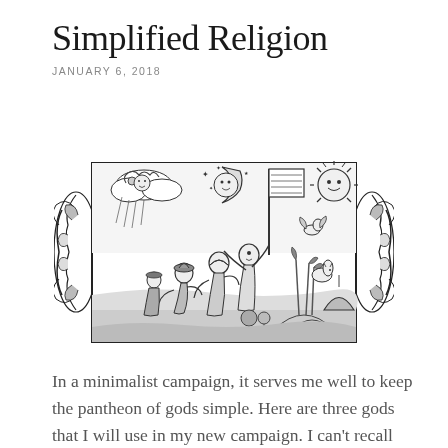Simplified Religion
JANUARY 6, 2018
[Figure (illustration): Historical woodcut illustration depicting figures kneeling in prayer/worship beneath celestial symbols including a sun, moon and stars, with ornate decorative scrollwork borders on sides. A banner/flag on a pole is visible, along with various animals and landscape elements.]
In a minimalist campaign, it serves me well to keep the pantheon of gods simple. Here are three gods that I will use in my new campaign. I can't recall how many hours I've spent trying to